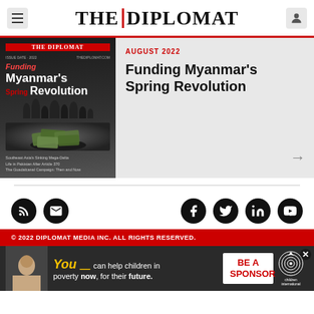THE DIPLOMAT
[Figure (illustration): Magazine cover: Funding Myanmar's Spring Revolution, August 2022 issue of The Diplomat]
AUGUST 2022
Funding Myanmar’s Spring Revolution
[Figure (infographic): Social media icons row: RSS, Email, Facebook, Twitter, LinkedIn, YouTube]
© 2022 DIPLOMAT MEDIA INC. ALL RIGHTS RESERVED.
[Figure (photo): Advertisement: You can help children in poverty now, for their future. BE A SPONSOR. Children International logo.]